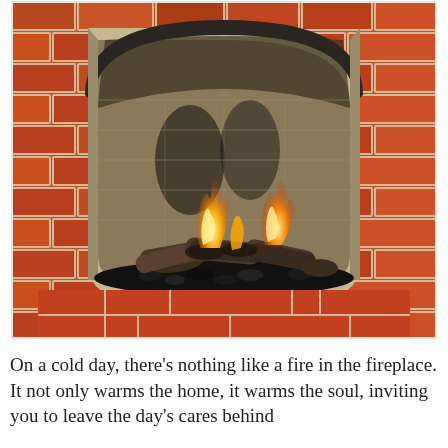[Figure (photo): A brick fireplace with an arched opening, showing burning gas logs with flames, set against a sooty firebrick interior. The hearth has a brick surround and base with dark gravel/lava rock at the bottom.]
On a cold day, there’s nothing like a fire in the fireplace. It not only warms the home, it warms the soul, inviting you to leave the day’s cares behind